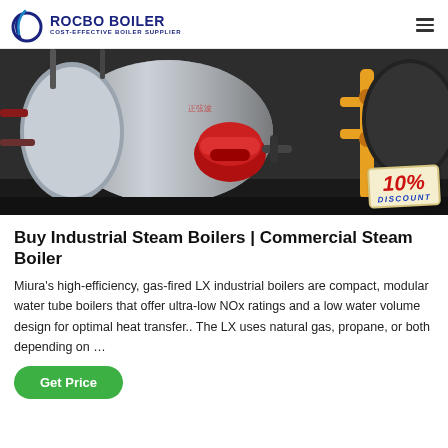ROCBO BOILER — COST-EFFECTIVE BOILER SUPPLIER
[Figure (photo): Industrial steam boiler in a factory setting, large cylindrical vessel with red burner assembly and yellow gas pipes. 10% DISCOUNT badge overlaid at bottom right.]
Buy Industrial Steam Boilers | Commercial Steam Boiler
Miura's high-efficiency, gas-fired LX industrial boilers are compact, modular water tube boilers that offer ultra-low NOx ratings and a low water volume design for optimal heat transfer.. The LX uses natural gas, propane, or both depending on …
Get Price